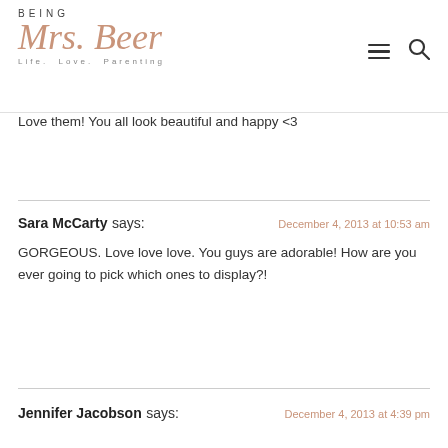BEING Mrs. Beer — Life. Love. Parenting
Love them! You all look beautiful and happy <3
Sara McCarty says: — December 4, 2013 at 10:53 am
GORGEOUS. Love love love. You guys are adorable! How are you ever going to pick which ones to display?!
Jennifer Jacobson says: — December 4, 2013 at 4:39 pm